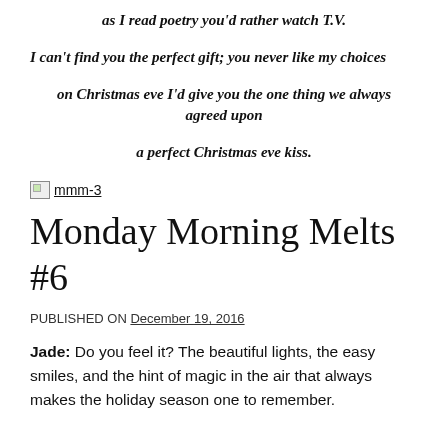as I read poetry you'd rather watch T.V.
I can't find you the perfect gift; you never like my choices
on Christmas eve I'd give you the one thing we always agreed upon
a perfect Christmas eve kiss.
[Figure (photo): Broken image placeholder labeled mmm-3]
Monday Morning Melts #6
PUBLISHED ON December 19, 2016
Jade: Do you feel it? The beautiful lights, the easy smiles, and the hint of magic in the air that always makes the holiday season one to remember.